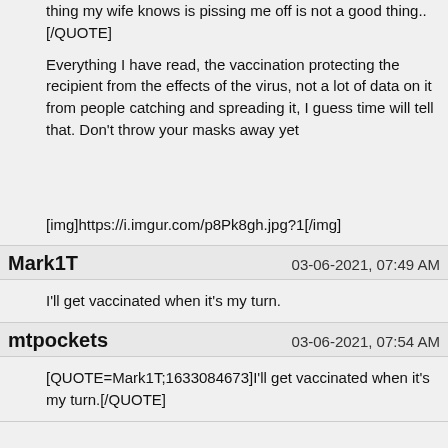thing my wife knows is pissing me off is not a good thing..[/QUOTE]
Everything I have read, the vaccination protecting the recipient from the effects of the virus, not a lot of data on it from people catching and spreading it, I guess time will tell that. Don't throw your masks away yet
[img]https://i.imgur.com/p8Pk8gh.jpg?1[/img]
Mark1T	03-06-2021, 07:49 AM
I'll get vaccinated when it's my turn.
mtpockets	03-06-2021, 07:54 AM
[QUOTE=Mark1T;1633084673]I'll get vaccinated when it's my turn.[/QUOTE]